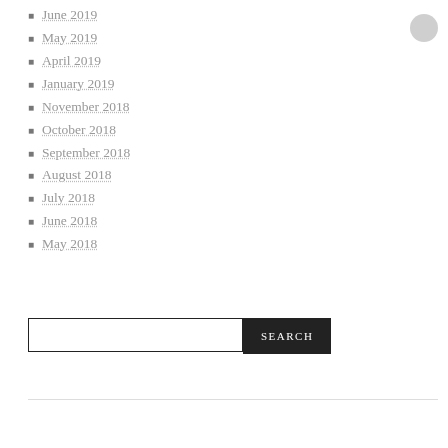June 2019
May 2019
April 2019
January 2019
November 2018
October 2018
September 2018
August 2018
July 2018
June 2018
May 2018